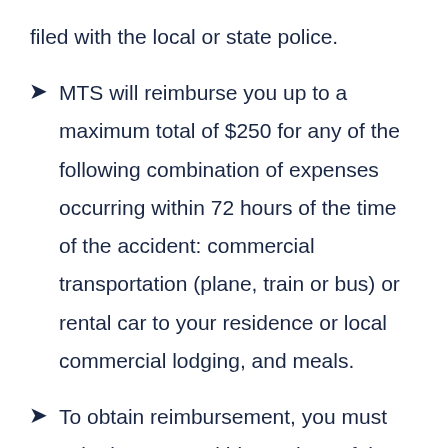filed with the local or state police.
MTS will reimburse you up to a maximum total of $250 for any of the following combination of expenses occurring within 72 hours of the time of the accident: commercial transportation (plane, train or bus) or rental car to your residence or local commercial lodging, and meals.
To obtain reimbursement, you must submit to MTS within 60 days of the accident, all paid receipts from the business providing you with lodging, meals, transportation etc., and a copy of the accident report you filed with the police. This benefit does not and is